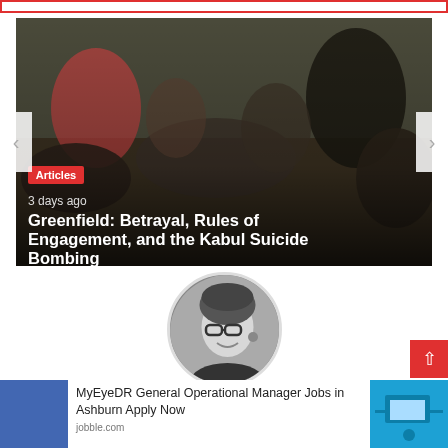[Figure (photo): Slideshow image showing a chaotic scene, people crowded together in a dimly lit space. Red 'Articles' badge and white text overlay showing '3 days ago' and article title.]
Greenfield: Betrayal, Rules of Engagement, and the Kabul Suicide Bombing
3 days ago
[Figure (photo): Black and white circular author avatar photo of a smiling woman with glasses.]
MyEyeDR General Operational Manager Jobs in Ashburn Apply Now
jobble.com